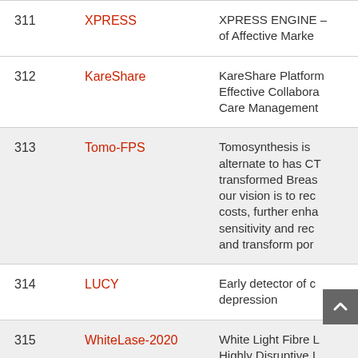| # | Name | Description |
| --- | --- | --- |
| 311 | XPRESS | XPRESS ENGINE - of Affective Marke... |
| 312 | KareShare | KareShare Platform Effective Collabora... Care Management... |
| 313 | Tomo-FPS | Tomosynthesis is alternate to has CT transformed Breas... our vision is to red costs, further enha sensitivity and red and transform por... |
| 314 | LUCY | Early detector of c... depression |
| 315 | WhiteLase-2020 | White Light Fibre L... Highly Disruptive ... Technology for Inc... Medical Surgery... |